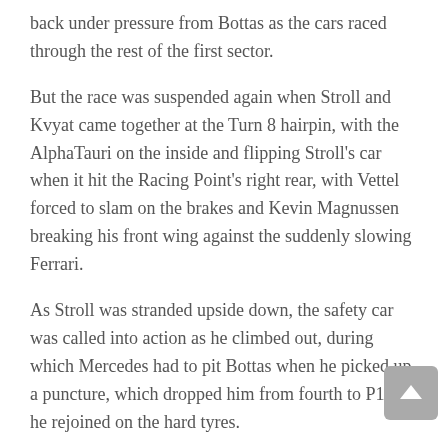back under pressure from Bottas as the cars raced through the rest of the first sector.
But the race was suspended again when Stroll and Kvyat came together at the Turn 8 hairpin, with the AlphaTauri on the inside and flipping Stroll's car when it hit the Racing Point's right rear, with Vettel forced to slam on the brakes and Kevin Magnussen breaking his front wing against the suddenly slowing Ferrari.
As Stroll was stranded upside down, the safety car was called into action as he climbed out, during which Mercedes had to pit Bottas when he picked up a puncture, which dropped him from fourth to P16 as he rejoined on the hard tyres.
The race restarted on lap nine, with Hamilton grabbing a 0.7 seconds lead over the line by nailing the final corner better than Verstappen as they moved back to racing speed.